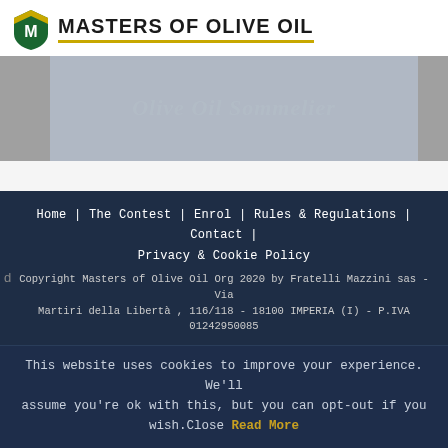[Figure (logo): Masters of Olive Oil logo with shield icon and text]
[Figure (photo): Blurred/obscured banner image with partial overlay text, gray and blue tones]
Home | The Contest | Enrol | Rules & Regulations | Contact | Privacy & Cookie Policy

Copyright Masters of Olive Oil Org 2020 by Fratelli Mazzini sas - Via Martiri della Libertà , 116/118 - 18100 IMPERIA (I) - P.IVA 01242950085
This website uses cookies to improve your experience. We'll assume you're ok with this, but you can opt-out if you wish.Close Read More